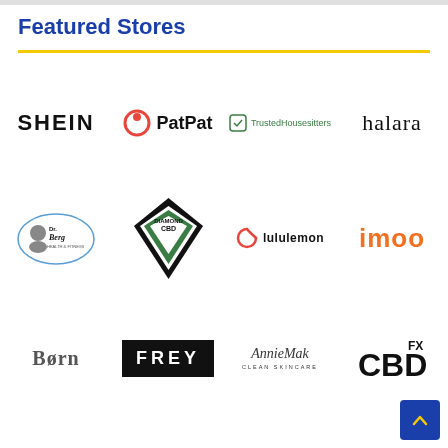Featured Stores
[Figure (logo): SHEIN logo - bold black text]
[Figure (logo): PatPat logo with red circle icon]
[Figure (logo): TrustedHousesitters logo in green]
[Figure (logo): halara logo in black serif font]
[Figure (logo): Dr. Berg logo with portrait]
[Figure (logo): Diamond CBD logo - diamond shape green and black]
[Figure (logo): lululemon logo with swirl icon]
[Figure (logo): imoo logo in orange]
[Figure (logo): Born logo in grey serif]
[Figure (logo): FREY logo white text on black]
[Figure (logo): AnnieMak Clean Skincare logo in italic serif]
[Figure (logo): CBDfx logo in black with FX superscript]